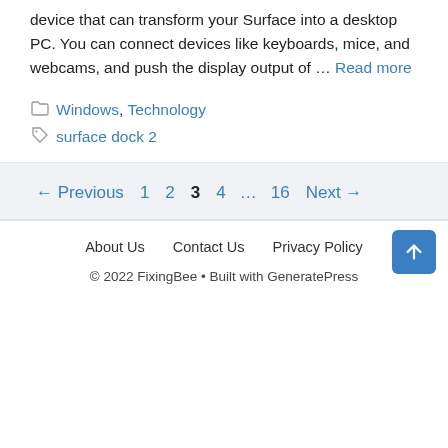device that can transform your Surface into a desktop PC. You can connect devices like keyboards, mice, and webcams, and push the display output of … Read more
Categories: Windows, Technology
Tags: surface dock 2
← Previous 1 2 3 4 … 16 Next →
About Us   Contact Us   Privacy Policy
© 2022 FixingBee • Built with GeneratePress